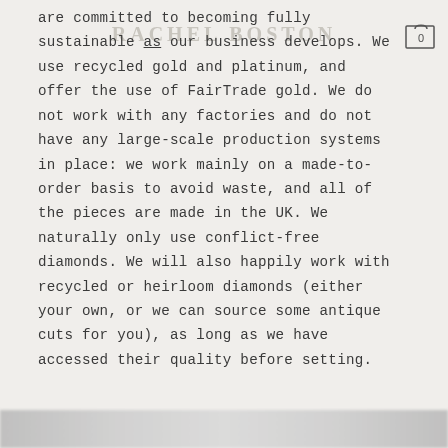RACHEL BOSTON
are committed to becoming fully sustainable as our business develops. We use recycled gold and platinum, and offer the use of FairTrade gold. We do not work with any factories and do not have any large-scale production systems in place: we work mainly on a made-to-order basis to avoid waste, and all of the pieces are made in the UK. We naturally only use conflict-free diamonds. We will also happily work with recycled or heirloom diamonds (either your own, or we can source some antique cuts for you), as long as we have accessed their quality before setting.